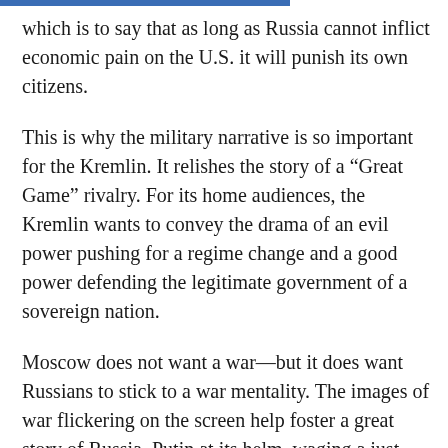which is to say that as long as Russia cannot inflict economic pain on the U.S. it will punish its own citizens.
This is why the military narrative is so important for the Kremlin. It relishes the story of a “Great Game” rivalry. For its home audiences, the Kremlin wants to convey the drama of an evil power pushing for a regime change and a good power defending the legitimate government of a sovereign nation.
Moscow does not want a war—but it does want Russians to stick to a war mentality. The images of war flickering on the screen help foster a great story of Russia, Putin at its helm, waging a just war against